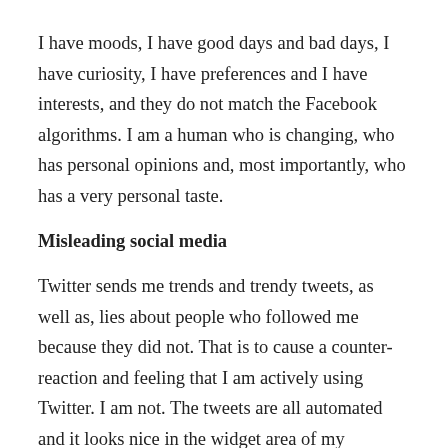I have moods, I have good days and bad days, I have curiosity, I have preferences and I have interests, and they do not match the Facebook algorithms. I am a human who is changing, who has personal opinions and, most importantly, who has a very personal taste.
Misleading social media
Twitter sends me trends and trendy tweets, as well as, lies about people who followed me because they did not. That is to cause a counter-reaction and feeling that I am actively using Twitter. I am not. The tweets are all automated and it looks nice in the widget area of my website, that’s all.